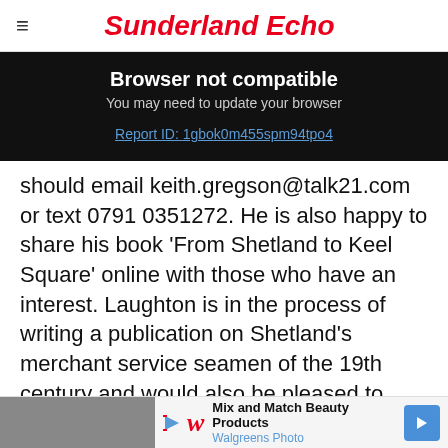Sunderland Echo
Browser not compatible
You may need to update your browser
Report ID: 1gbok0m455spm94tpo4
should email keith.gregson@talk21.com or text 0791 0351272. He is also happy to share his book 'From Shetland to Keel Square' online with those who have an interest. Laughton is in the process of writing a publication on Shetland's merchant service seamen of the 19th century and would also be pleased to hear from readers, email
[Figure (other): Walgreens Photo advertisement banner at the bottom: Mix and Match Beauty Products, Walgreens Photo]